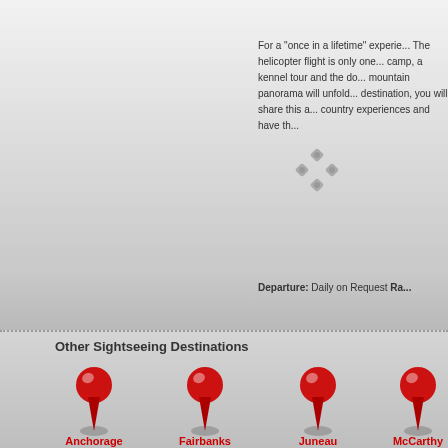For a "once in a lifetime" experience... The helicopter flight is only one... camp, a kennel tour and the do... mountain panorama will unfold... destination, you will share this a... country experiences and have th...
Departure: Daily on Request Ra...
Other Sightseeing Destinations
[Figure (illustration): Four red push-pin map markers icon representing sightseeing destinations: Anchorage, Fairbanks, Juneau, McCarthy]
Anchorage
Fairbanks
Juneau
McCarthy
Go Alaska Tours | Secured Reservation Request Form
A secure transmission of your personal infor... why we have taken steps to ensure that we h...